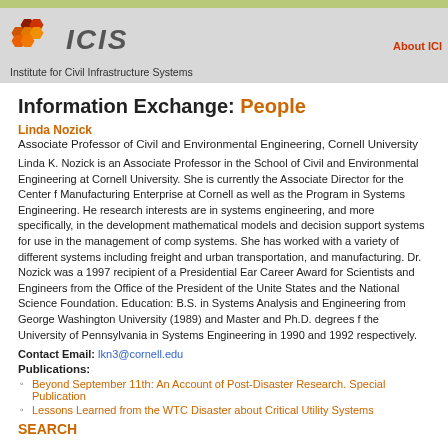[Figure (logo): ICIS hexagonal logo with colored hexagons and italic ICIS text]
Institute for Civil Infrastructure Systems
About ICI
Information Exchange: People
Linda Nozick
Associate Professor of Civil and Environmental Engineering, Cornell University
Linda K. Nozick is an Associate Professor in the School of Civil and Environmental Engineering at Cornell University. She is currently the Associate Director for the Center for Manufacturing Enterprise at Cornell as well as the Program in Systems Engineering. Her research interests are in systems engineering, and more specifically, in the development of mathematical models and decision support systems for use in the management of complex systems. She has worked with a variety of different systems including freight and urban transportation, and manufacturing. Dr. Nozick was a 1997 recipient of a Presidential Early Career Award for Scientists and Engineers from the Office of the President of the United States and the National Science Foundation. Education: B.S. in Systems Analysis and Engineering from George Washington University (1989) and Master and Ph.D. degrees from the University of Pennsylvania in Systems Engineering in 1990 and 1992 respectively.
Contact Email: lkn3@cornell.edu
Publications:
Beyond September 11th: An Account of Post-Disaster Research. Special Publication
Lessons Learned from the WTC Disaster about Critical Utility Systems
SEARCH